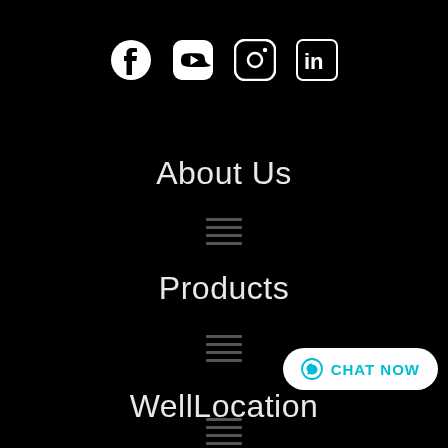[Figure (other): Social media icons: Facebook, YouTube, Instagram, LinkedIn — white on black background]
About Us
[Figure (other): Hamburger menu icon (three horizontal lines)]
Products
[Figure (other): Hamburger menu icon (three horizontal lines)]
WellLocation
[Figure (other): Chat Now button with WhatsApp icon]
[Figure (other): Hamburger menu icon (three horizontal lines) partially visible at bottom]